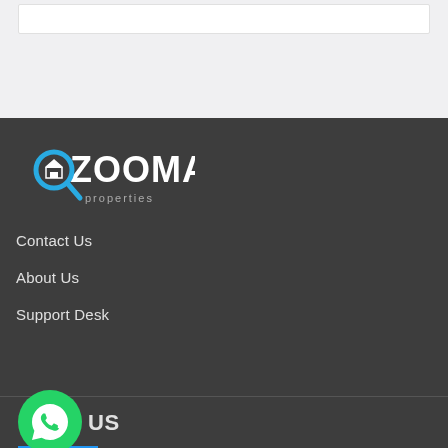[Figure (logo): ZOOMA Properties logo — magnifying glass with a house icon, white text on dark background]
Contact Us
About Us
Support Desk
[Figure (logo): WhatsApp green circle button icon]
US